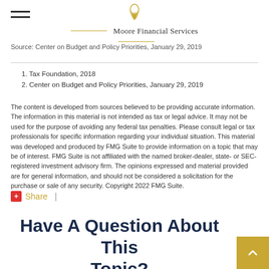Moore Financial Services
Source: Center on Budget and Policy Priorities, January 29, 2019
1. Tax Foundation, 2018
2. Center on Budget and Policy Priorities, January 29, 2019
The content is developed from sources believed to be providing accurate information. The information in this material is not intended as tax or legal advice. It may not be used for the purpose of avoiding any federal tax penalties. Please consult legal or tax professionals for specific information regarding your individual situation. This material was developed and produced by FMG Suite to provide information on a topic that may be of interest. FMG Suite is not affiliated with the named broker-dealer, state- or SEC-registered investment advisory firm. The opinions expressed and material provided are for general information, and should not be considered a solicitation for the purchase or sale of any security. Copyright 2022 FMG Suite.
Share |
Have A Question About This Topic?